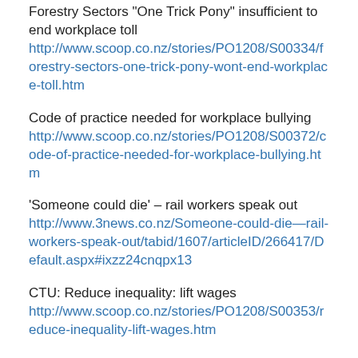Forestry Sectors "One Trick Pony" insufficient to end workplace toll
http://www.scoop.co.nz/stories/PO1208/S00334/forestry-sectors-one-trick-pony-wont-end-workplace-toll.htm
Code of practice needed for workplace bullying
http://www.scoop.co.nz/stories/PO1208/S00372/code-of-practice-needed-for-workplace-bullying.htm
'Someone could die' – rail workers speak out
http://www.3news.co.nz/Someone-could-die—rail-workers-speak-out/tabid/1607/articleID/266417/Default.aspx#ixzz24cnqpx13
CTU: Reduce inequality: lift wages
http://www.scoop.co.nz/stories/PO1208/S00353/reduce-inequality-lift-wages.htm